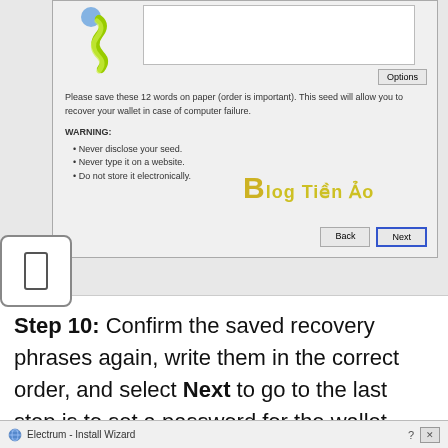[Figure (screenshot): Screenshot of Electrum wallet Install Wizard showing seed phrase backup dialog with Options button, warning text about saving 12 words on paper, WARNING section with bullet points (Never disclose your seed, Never type it on a website, Do not store it electronically), a watermark 'Blog Tiền Ảo', and Back/Next buttons at bottom. Also shows a small step indicator box.]
Step 10: Confirm the saved recovery phrases again, write them in the correct order, and select Next to go to the last step is to set a password for the wallet.
[Figure (screenshot): Bottom portion of Electrum Install Wizard dialog title bar showing 'Electrum - Install Wizard' with ? and X controls.]